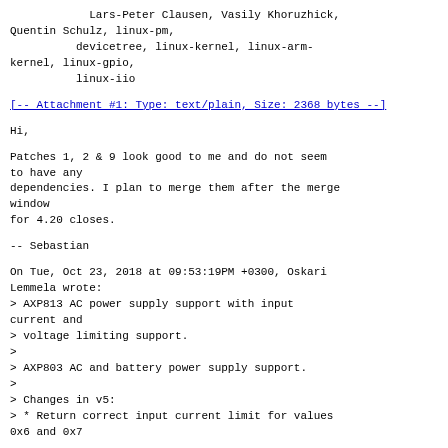Lars-Peter Clausen, Vasily Khoruzhick,
Quentin Schulz, linux-pm,
          devicetree, linux-kernel, linux-arm-kernel, linux-gpio,
          linux-iio
[-- Attachment #1: Type: text/plain, Size: 2368 bytes --]
Hi,
Patches 1, 2 & 9 look good to me and do not seem to have any
dependencies. I plan to merge them after the merge window
for 4.20 closes.
-- Sebastian
On Tue, Oct 23, 2018 at 09:53:19PM +0300, Oskari Lemmela wrote:
> AXP813 AC power supply support with input current and
> voltage limiting support.
>
> AXP803 AC and battery power supply support.
>
> Changes in v5:
> * Return correct input current limit for values 0x6 and 0x7